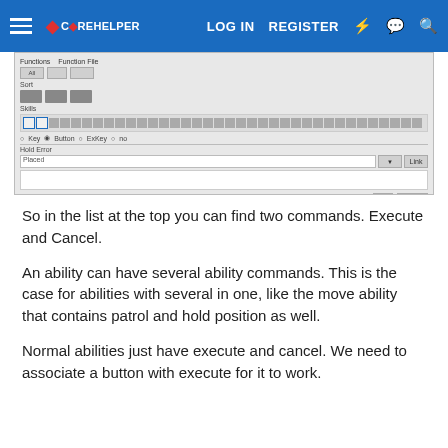LOG IN   REGISTER
[Figure (screenshot): A software dialog/window screenshot showing a configuration interface with toolbar, gray bars, a row of small cells, input fields, radio buttons, and OK/Cancel buttons at the bottom.]
So in the list at the top you can find two commands. Execute and Cancel.
An ability can have several ability commands. This is the case for abilities with several in one, like the move ability that contains patrol and hold position as well.
Normal abilities just have execute and cancel. We need to associate a button with execute for it to work.